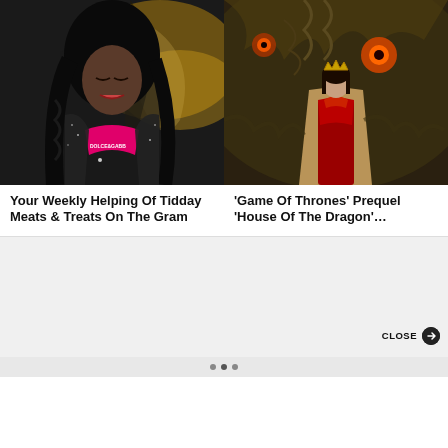[Figure (photo): Woman with long black braided hair wearing a sparkly dark jacket and a pink Dolce & Gabbana bra top, photographed at an event against a gold and grey swirl background]
Your Weekly Helping Of Tidday Meats & Treats On The Gram
[Figure (photo): Person in red medieval dress and cape standing in front of a large dragon — promotional image for House of the Dragon]
‘Game Of Thrones’ Prequel ‘House Of The Dragon’…